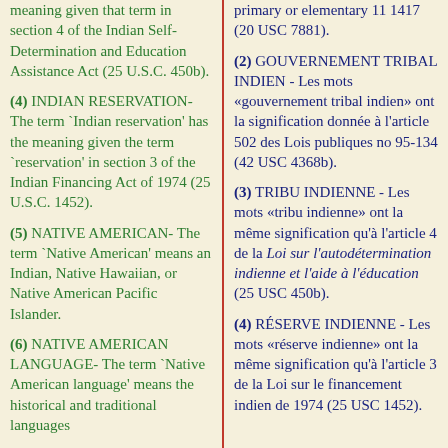meaning given that term in section 4 of the Indian Self-Determination and Education Assistance Act (25 U.S.C. 450b).
(4) INDIAN RESERVATION- The term `Indian reservation' has the meaning given the term `reservation' in section 3 of the Indian Financing Act of 1974 (25 U.S.C. 1452).
(5) NATIVE AMERICAN- The term `Native American' means an Indian, Native Hawaiian, or Native American Pacific Islander.
(6) NATIVE AMERICAN LANGUAGE- The term `Native American language' means the historical and traditional languages...
primary or elementary 11 1417 (20 USC 7881).
(2) GOUVERNEMENT TRIBAL INDIEN - Les mots «gouvernement tribal indien» ont la signification donnée à l'article 502 des Lois publiques no 95-134 (42 USC 4368b).
(3) TRIBU INDIENNE - Les mots «tribu indienne» ont la même signification qu'à l'article 4 de la Loi sur l'autodétermination indienne et l'aide à l'éducation (25 USC 450b).
(4) RÉSERVE INDIENNE - Les mots «réserve indienne» ont la même signification qu'à l'article 3 de la Loi sur le financement indien de 1974 (25 USC 1452).